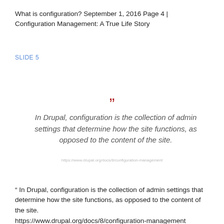What is configuration? September 1, 2016 Page 4 | Configuration Management: A True Life Story
SLIDE 5
”
In Drupal, configuration is the collection of admin settings that determine how the site functions, as opposed to the content of the site.
https://www.drupal.org/docs/8/configuration-management
“ In Drupal, configuration is the collection of admin settings that determine how the site functions, as opposed to the content of the site.
https://www.drupal.org/docs/8/configuration-management